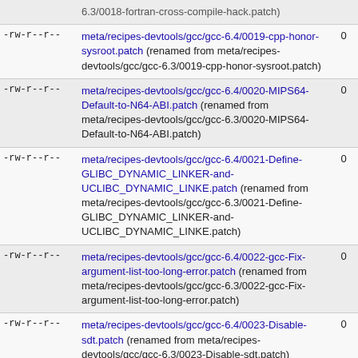| permissions | file | num |
| --- | --- | --- |
| -rw-r--r-- | meta/recipes-devtools/gcc/gcc-6.4/0019-cpp-honor-sysroot.patch (renamed from meta/recipes-devtools/gcc/gcc-6.3/0019-cpp-honor-sysroot.patch) | 0 |
| -rw-r--r-- | meta/recipes-devtools/gcc/gcc-6.4/0020-MIPS64-Default-to-N64-ABI.patch (renamed from meta/recipes-devtools/gcc/gcc-6.3/0020-MIPS64-Default-to-N64-ABI.patch) | 0 |
| -rw-r--r-- | meta/recipes-devtools/gcc/gcc-6.4/0021-Define-GLIBC_DYNAMIC_LINKER-and-UCLIBC_DYNAMIC_LINKE.patch (renamed from meta/recipes-devtools/gcc/gcc-6.3/0021-Define-GLIBC_DYNAMIC_LINKER-and-UCLIBC_DYNAMIC_LINKE.patch) | 0 |
| -rw-r--r-- | meta/recipes-devtools/gcc/gcc-6.4/0022-gcc-Fix-argument-list-too-long-error.patch (renamed from meta/recipes-devtools/gcc/gcc-6.3/0022-gcc-Fix-argument-list-too-long-error.patch) | 0 |
| -rw-r--r-- | meta/recipes-devtools/gcc/gcc-6.4/0023-Disable-sdt.patch (renamed from meta/recipes-devtools/gcc/gcc-6.3/0023-Disable-sdt.patch) | 0 |
| -rw-r--r-- | meta/recipes-devtools/gcc/gcc-6.4/0024-libtool.patch (renamed from meta/recipes-devtools/gcc/gcc-6.3/0024-libtool.patch) | 0 |